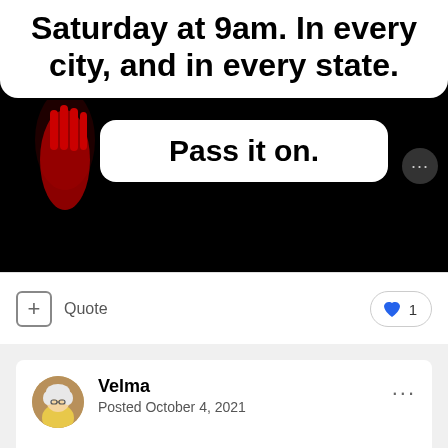[Figure (screenshot): Screenshot of a social media post showing text on black background: 'Saturday at 9am. In every city, and in every state.' with a white speech bubble saying 'Pass it on.' and a red glowing hand visible on the left.]
+ Quote
❤ 1
Velma
Posted October 4, 2021